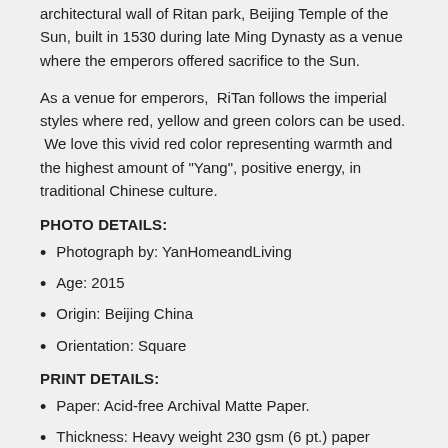architectural wall of Ritan park, Beijing Temple of the Sun, built in 1530 during late Ming Dynasty as a venue where the emperors offered sacrifice to the Sun.
As a venue for emperors, RiTan follows the imperial styles where red, yellow and green colors can be used. We love this vivid red color representing warmth and the highest amount of "Yang", positive energy, in traditional Chinese culture.
PHOTO DETAILS:
Photograph by: YanHomeandLiving
Age: 2015
Origin: Beijing China
Orientation: Square
PRINT DETAILS:
Paper: Acid-free Archival Matte Paper.
Thickness: Heavy weight 230 gsm (6 pt.) paper certified by the Forest Stewardship Council.